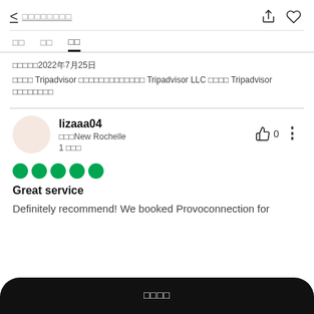< □□□□□□□□
□□　□□　□□
□□□□□2022年7月25日
□□□□ Tripadvisor □□□□□□□□□□□□□ Tripadvisor LLC □□□□ Tripadvisor □□□□□□□□
lizaaa04
□□□New Rochelle
1 □□□
Great service
Definitely recommend! We booked Provoconnection for
□□□□